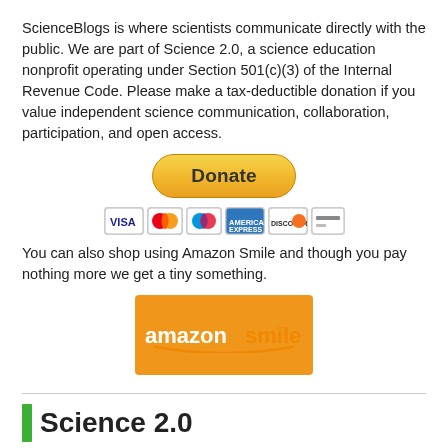ScienceBlogs is where scientists communicate directly with the public. We are part of Science 2.0, a science education nonprofit operating under Section 501(c)(3) of the Internal Revenue Code. Please make a tax-deductible donation if you value independent science communication, collaboration, participation, and open access.
[Figure (other): PayPal Donate button (yellow rounded rectangle with bold 'Donate' text) above a row of credit card icons: Visa, Mastercard (red/orange), Maestro (blue/red), American Express, Discover, and one other card.]
You can also shop using Amazon Smile and though you pay nothing more we get a tiny something.
[Figure (logo): Amazon Smile logo on orange background — 'amazonsmile' in white text with a curved smile arrow beneath, and small tagline text below.]
Science 2.0
The Science Of The Midday Siesta - Why Heat Makes Us